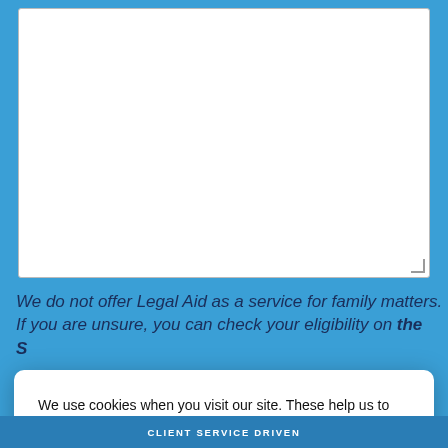[Figure (screenshot): White textarea input box with resize handle in bottom-right corner, on blue background]
We do not offer Legal Aid as a service for family matters. If you are unsure, you can check your eligibility on the s
We use cookies when you visit our site. These help us to give you the best experience on our website, analyse traffic and enable social media features. By clicking “Accept all”, you agree to the use of cookies unless you have disabled them. You can find out more information about cookies in our Cookies Policy and about how we process personal data in our Privacy Notice
Learn more
× DENY ALL
✓ ACCEPT ALL
CLIENT SERVICE DRIVEN